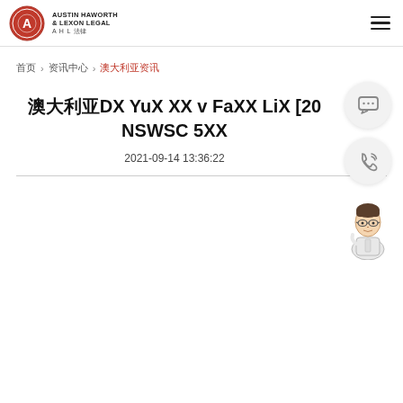AUSTIN HAWORTH & LEXON LEGAL AHL 法律
首页 > 资讯中心 > 澳大利亚资讯
澳大利亚DX YuX XX v FaXX LiX [20...] NSWSC 5XX
2021-09-14 13:36:22